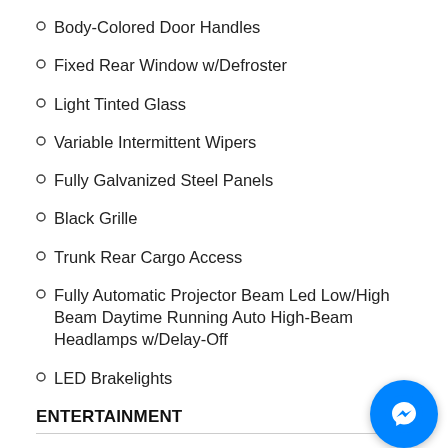Body-Colored Door Handles
Fixed Rear Window w/Defroster
Light Tinted Glass
Variable Intermittent Wipers
Fully Galvanized Steel Panels
Black Grille
Trunk Rear Cargo Access
Fully Automatic Projector Beam Led Low/High Beam Daytime Running Auto High-Beam Headlamps w/Delay-Off
LED Brakelights
ENTERTAINMENT
Radio: Audio -inc: , 8" touchscreen, 6 speakers, Android Auto, Apple Carplay, Amazon Alexa compatible, USB media